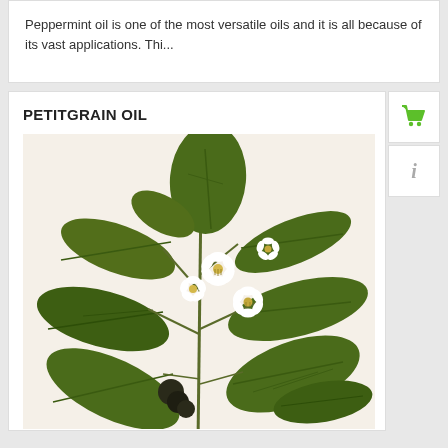Peppermint oil is one of the most versatile oils and it is all because of its vast applications. Thi...
PETITGRAIN OIL
[Figure (illustration): Botanical illustration of a petitgrain plant showing large green leaves, white flowers with yellow centers, and small dark fruits on branches]